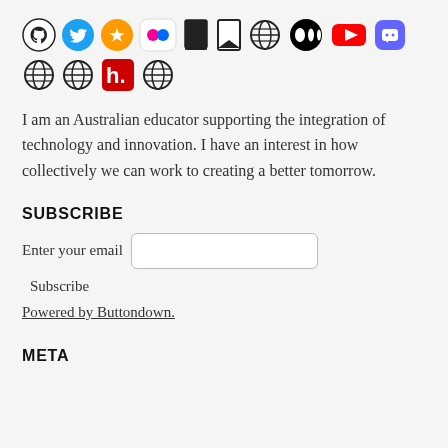[Figure (other): Row of social media icons: GitHub, Twitter, Micro.blog (star), Flickr (dots), two bookmark icons, globe, Medium, YouTube, Mastodon]
[Figure (other): Second row of social media icons: three globe icons and Hypothesis (h.) icon]
I am an Australian educator supporting the integration of technology and innovation. I have an interest in how collectively we can work to creating a better tomorrow.
SUBSCRIBE
Enter your email  [input field]  Subscribe
Powered by Buttondown.
META